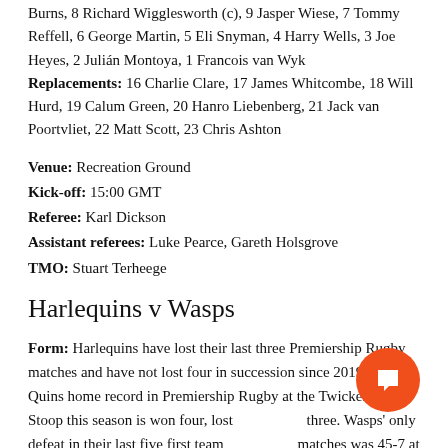Burns, 8 Richard Wigglesworth (c), 9 Jasper Wiese, 7 Tommy Reffell, 6 George Martin, 5 Eli Snyman, 4 Harry Wells, 3 Joe Heyes, 2 Julián Montoya, 1 Francois van Wyk Replacements: 16 Charlie Clare, 17 James Whitcombe, 18 Will Hurd, 19 Calum Green, 20 Hanro Liebenberg, 21 Jack van Poortvliet, 22 Matt Scott, 23 Chris Ashton
Venue: Recreation Ground
Kick-off: 15:00 GMT
Referee: Karl Dickson
Assistant referees: Luke Pearce, Gareth Holsgrove
TMO: Stuart Terheege
Harlequins v Wasps
Form: Harlequins have lost their last three Premiership Rugby matches and have not lost four in succession since 2019. The Quins home record in Premiership Rugby at the Twickenham Stoop this season is won four, lost three. Wasps' only defeat in their last five first team matches was 45-7 at Munster in the European